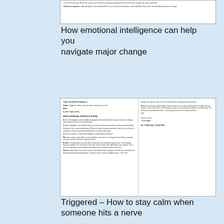[Figure (screenshot): Top portion of a document page showing topic Emotional Intelligence with text about navigating change]
How emotional intelligence can help you navigate major change
[Figure (screenshot): Full document page showing email template about Triggered – How to stay calm when someone hits a nerve, with left column body text and right column with Pause tip and P.S. YOUR CALL TO ACTION]
Triggered – How to stay calm when someone hits a nerve